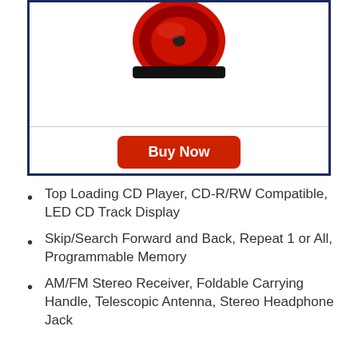[Figure (photo): Top portion of a red and black portable CD player/boombox shown inside a dark navy blue bordered product box. Only the top part of the device is visible at the top of the box.]
Top Loading CD Player, CD-R/RW Compatible, LED CD Track Display
Skip/Search Forward and Back, Repeat 1 or All, Programmable Memory
AM/FM Stereo Receiver, Foldable Carrying Handle, Telescopic Antenna, Stereo Headphone Jack